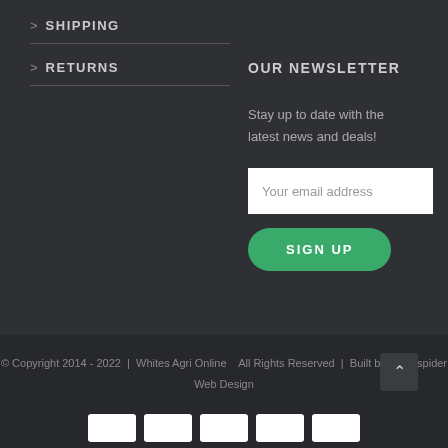> SHIPPING
> RETURNS
OUR NEWSLETTER
Stay up to date with the latest news and deals!
Your email address
SIGN UP
© Copyright 2014 - 2022  |  Whites Agri Online  All Rights Reserved  |  Built by Whitespider Web Design